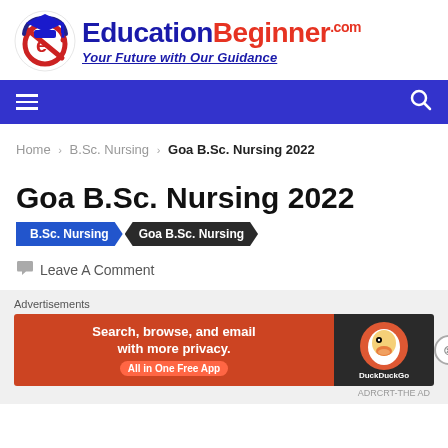[Figure (logo): EducationBeginner.com logo with graduation cap icon, tagline 'Your Future with Our Guidance']
Navigation bar with hamburger menu and search icon
Home › B.Sc. Nursing › Goa B.Sc. Nursing 2022
Goa B.Sc. Nursing 2022
B.Sc. Nursing  Goa B.Sc. Nursing
Leave A Comment
Advertisements
[Figure (screenshot): DuckDuckGo advertisement banner: 'Search, browse, and email with more privacy. All in One Free App']